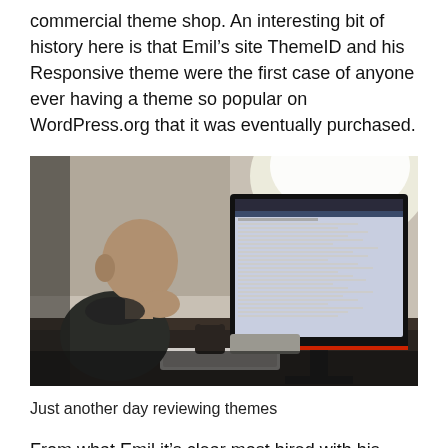commercial theme shop. An interesting bit of history here is that Emil's site ThemeID and his Responsive theme were the first case of anyone ever having a theme so popular on WordPress.org that it was eventually purchased.
[Figure (photo): A bald man sitting at a desk viewed from the side, looking at a large computer monitor displaying a website. A keyboard, mug, and headphones are visible on the desk. Natural light comes from a window in the background.]
Just another day reviewing themes
From what Emil its clear most hired with his